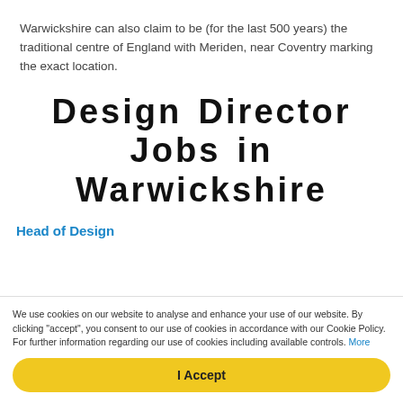Warwickshire can also claim to be (for the last 500 years) the traditional centre of England with Meriden, near Coventry marking the exact location.
Design Director Jobs in Warwickshire
Head of Design
We use cookies on our website to analyse and enhance your use of our website. By clicking "accept", you consent to our use of cookies in accordance with our Cookie Policy. For further information regarding our use of cookies including available controls. More
I Accept